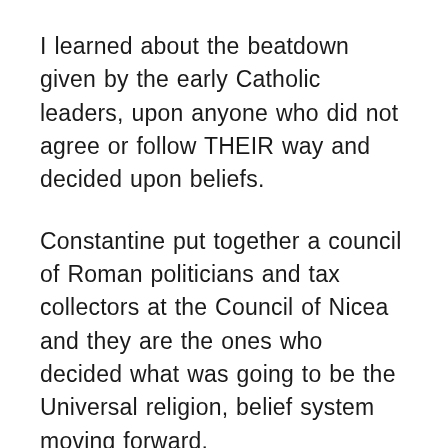I learned about the beatdown given by the early Catholic leaders, upon anyone who did not agree or follow THEIR way and decided upon beliefs.
Constantine put together a council of Roman politicians and tax collectors at the Council of Nicea and they are the ones who decided what was going to be the Universal religion, belief system moving forward.
Sorry for the long response here, but I would love for you or anyone else with an open mind to look into the book sold at ShantiChristo.com, a book channeled or given to us by Jeshua